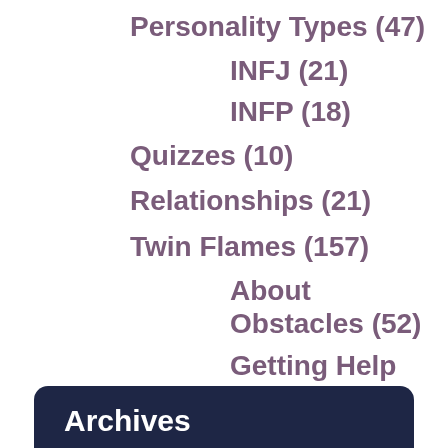Personality Types (47)
INFJ (21)
INFP (18)
Quizzes (10)
Relationships (21)
Twin Flames (157)
About Obstacles (52)
Getting Help (36)
Still Unsure? (34)
Videos (19)
Archives